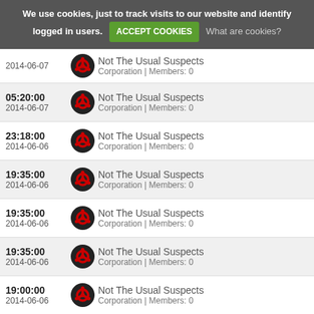We use cookies, just to track visits to our website and identify logged in users. ACCEPT COOKIES  What are cookies?
05:21:00 | 2014-06-07 | Not The Usual Suspects | Corporation | Members: 0
05:20:00 | 2014-06-07 | Not The Usual Suspects | Corporation | Members: 0
23:18:00 | 2014-06-06 | Not The Usual Suspects | Corporation | Members: 0
19:35:00 | 2014-06-06 | Not The Usual Suspects | Corporation | Members: 0
19:35:00 | 2014-06-06 | Not The Usual Suspects | Corporation | Members: 0
19:35:00 | 2014-06-06 | Not The Usual Suspects | Corporation | Members: 0
19:00:00 | 2014-06-06 | Not The Usual Suspects | Corporation | Members: 0
18:27:00 | 2014-06-06 | Not The Usual Suspects | Corporation | Members: 0
12:43:00 | 2014-06-06 | Not The Usual Suspects | Corporation | Members: 0
05:51:00 | 2014-06-06 | Not The Usual Suspects | Corporation | Members: 0
02:15:50 | Not The Usual Suspects